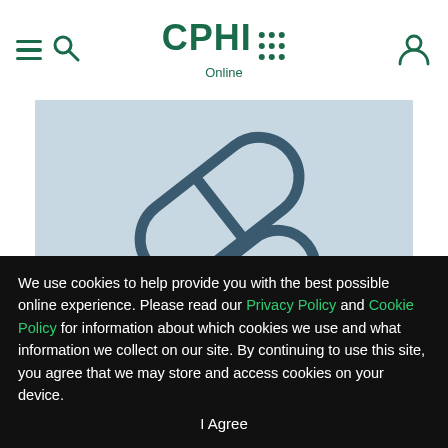CPHI Online
[Figure (illustration): CPHI Online website screenshot showing pharmaceutical pill capsule illustration on a light blue background, with a white strip at the bottom of the image card.]
We use cookies to help provide you with the best possible online experience. Please read our Privacy Policy and Cookie Policy for information about which cookies we use and what information we collect on our site. By continuing to use this site, you agree that we may store and access cookies on your device.
I Agree